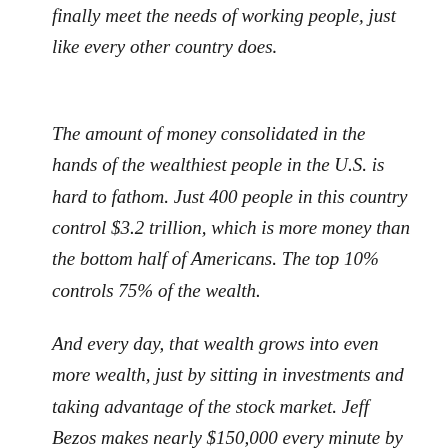finally meet the needs of working people, just like every other country does.
The amount of money consolidated in the hands of the wealthiest people in the U.S. is hard to fathom. Just 400 people in this country control $3.2 trillion, which is more money than the bottom half of Americans. The top 10% controls 75% of the wealth.
And every day, that wealth grows into even more wealth, just by sitting in investments and taking advantage of the stock market. Jeff Bezos makes nearly $150,000 every minute by doing nothing